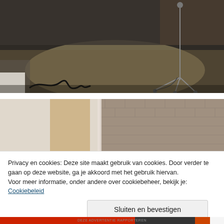[Figure (photo): Interior photo of an empty room or studio with a concrete/wood floor. A black cable is coiled and stretched across the floor on the left. A metal tripod/stand is visible on the right side. The space looks industrial or under renovation.]
[Figure (photo): Interior photo showing a blurred room with a brick wall in the background and what appears to be wooden panels or partitions in the foreground. The image is partially obscured by a cookie consent overlay.]
Privacy en cookies: Deze site maakt gebruik van cookies. Door verder te gaan op deze website, ga je akkoord met het gebruik hiervan.
Voor meer informatie, onder andere over cookiebeheer, bekijk je: Cookiebeleid
Sluiten en bevestigen